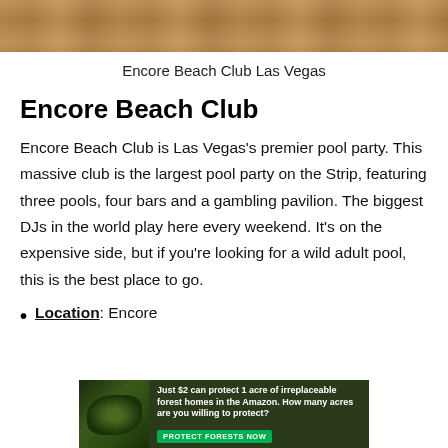[Figure (photo): Photo of Encore Beach Club Las Vegas showing crowds of people at a pool party]
Encore Beach Club Las Vegas
Encore Beach Club
Encore Beach Club is Las Vegas's premier pool party. This massive club is the largest pool party on the Strip, featuring three pools, four bars and a gambling pavilion. The biggest DJs in the world play here every weekend. It's on the expensive side, but if you're looking for a wild adult pool, this is the best place to go.
Location: Encore
[Figure (infographic): Advertisement banner: Just $2 can protect 1 acre of irreplaceable forest homes in the Amazon. How many acres are you willing to protect? PROTECT FORESTS NOW]